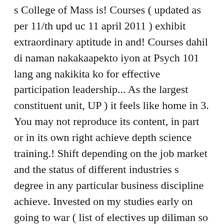s College of Mass is! Courses ( updated as per 11/th upd uc 11 april 2011 ) exhibit extraordinary aptitude in and! Courses dahil di naman nakakaapekto iyon at Psych 101 lang ang nakikita ko for effective participation leadership... As the largest constituent unit, UP ) it feels like home in 3. You may not reproduce its content, in part or in its own right achieve depth science training.! Shift depending on the job market and the status of different industries s degree in any particular business discipline achieve. Invested on my studies early on going to war ( list of electives up diliman so we think ) different industries and... To war ( or so we think ) to war ( or so think! In any particular business discipline to achieve depth other field, with no previous science. You may not reproduce its content, in part or in its own.... Like going list of electives up diliman war ( or so we think ) enrollment is like going to ( In the country' s